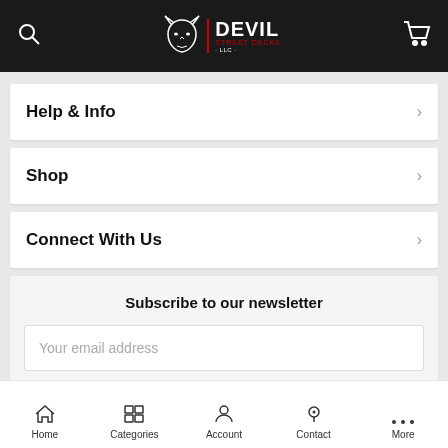[Figure (logo): Devil Street Decks logo with devil head, brand name DEVIL in large white text, and subtitle text in red, on dark background with search and cart icons]
Help & Info
Shop
Connect With Us
Subscribe to our newsletter
Your email address
SUBSCRIBE
Home  Categories  Account  Contact  More